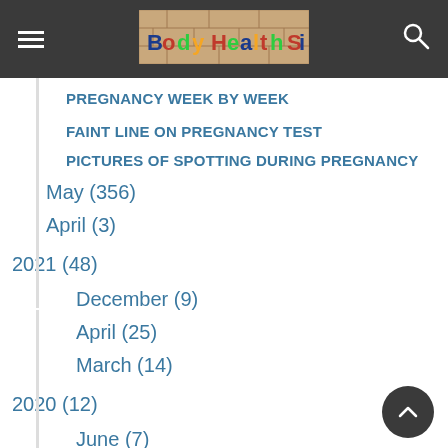Body Health Site
PREGNANCY WEEK BY WEEK
FAINT LINE ON PREGNANCY TEST
PICTURES OF SPOTTING DURING PREGNANCY
May (356)
April (3)
2021 (48)
December (9)
April (25)
March (14)
2020 (12)
June (7)
May (2)
January (3)